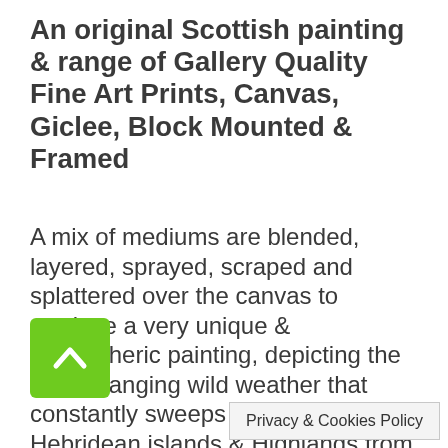An original Scottish painting & range of Gallery Quality Fine Art Prints, Canvas, Giclee, Block Mounted & Framed
A mix of mediums are blended, layered, sprayed, scraped and splattered over the canvas to produce a very unique & atmospheric painting, depicting the ever changing wild weather that constantly sweeps across Scotland's Hebridean islands & Highlands from The Atlantic
My Scottish art prints & mixed media oil paintings are greatly appreciated by fans of Scotland, mountains & the outdoors
[Figure (other): Green back-to-top button with upward chevron arrow icon]
Privacy & Cookies Policy